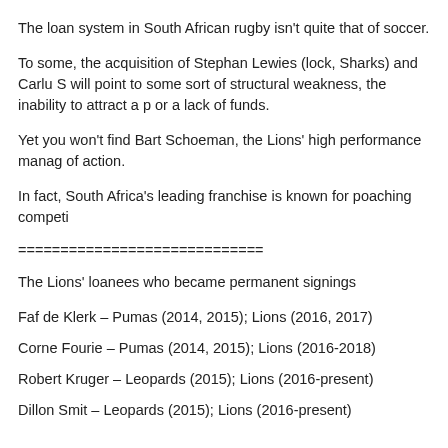The loan system in South African rugby isn't quite that of soccer.
To some, the acquisition of Stephan Lewies (lock, Sharks) and Carlu S will point to some sort of structural weakness, the inability to attract a p or a lack of funds.
Yet you won't find Bart Schoeman, the Lions' high performance manag of action.
In fact, South Africa's leading franchise is known for poaching competi
=============================
The Lions' loanees who became permanent signings
Faf de Klerk – Pumas (2014, 2015); Lions (2016, 2017)
Corne Fourie – Pumas (2014, 2015); Lions (2016-2018)
Robert Kruger – Leopards (2015); Lions (2016-present)
Dillon Smit – Leopards (2015); Lions (2016-present)